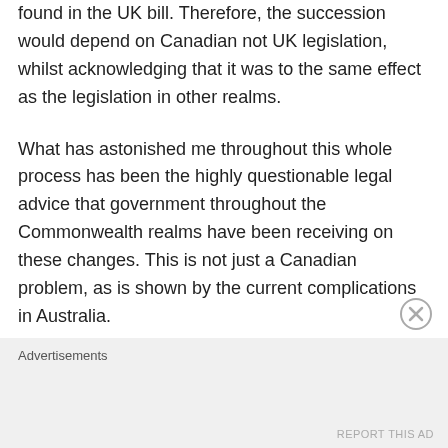found in the UK bill. Therefore, the succession would depend on Canadian not UK legislation, whilst acknowledging that it was to the same effect as the legislation in other realms.
What has astonished me throughout this whole process has been the highly questionable legal advice that government throughout the Commonwealth realms have been receiving on these changes. This is not just a Canadian problem, as is shown by the current complications in Australia.
It seem no one at any time from the UK
Advertisements
REPORT THIS AD